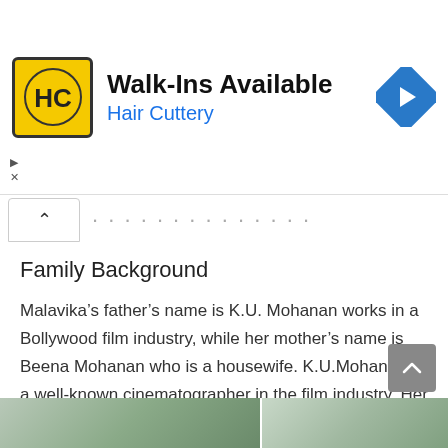[Figure (other): Hair Cuttery advertisement banner with yellow HC logo, text 'Walk-Ins Available' and 'Hair Cuttery', and a blue diamond-shaped arrow icon]
Family Background
Malavika’s father’s name is K.U. Mohanan works in a Bollywood film industry, while her mother’s name is Beena Mohanan who is a housewife. K.U.Mohanan is a well-known cinematographer in the film industry. Her family is very supportive of her from the beginning.
[Figure (photo): Partial photo strip at bottom showing outdoor/nature photos]